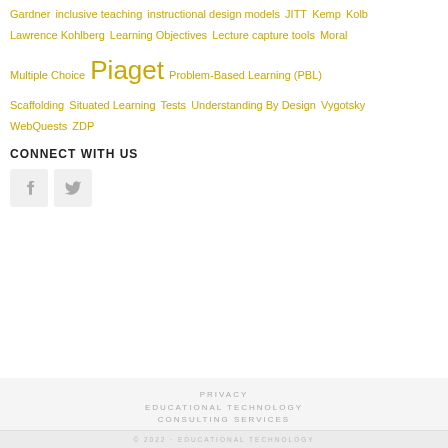Gardner inclusive teaching instructional design models JITT Kemp Kolb Lawrence Kohlberg Learning Objectives Lecture capture tools Moral Multiple Choice Piaget Problem-Based Learning (PBL) Scaffolding Situated Learning Tests Understanding By Design Vygotsky WebQuests ZDP
CONNECT WITH US
[Figure (other): Social media icons: Facebook and Twitter buttons]
PRIVACY
EDUCATIONAL TECHNOLOGY CONSULTING SERVICES
© 2022 · EDUCATIONAL TECHNOLOGY